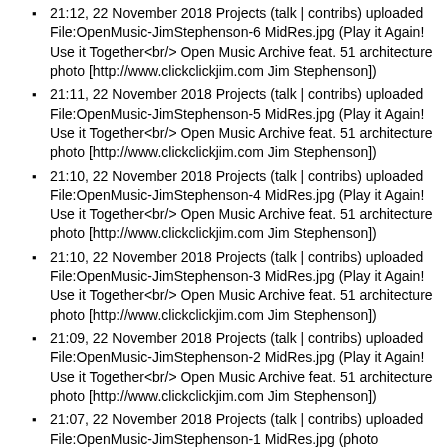21:12, 22 November 2018 Projects (talk | contribs) uploaded File:OpenMusic-JimStephenson-6 MidRes.jpg (Play it Again! Use it Together<br/> Open Music Archive feat. 51 architecture photo [http://www.clickclickjim.com Jim Stephenson])
21:11, 22 November 2018 Projects (talk | contribs) uploaded File:OpenMusic-JimStephenson-5 MidRes.jpg (Play it Again! Use it Together<br/> Open Music Archive feat. 51 architecture photo [http://www.clickclickjim.com Jim Stephenson])
21:10, 22 November 2018 Projects (talk | contribs) uploaded File:OpenMusic-JimStephenson-4 MidRes.jpg (Play it Again! Use it Together<br/> Open Music Archive feat. 51 architecture photo [http://www.clickclickjim.com Jim Stephenson])
21:10, 22 November 2018 Projects (talk | contribs) uploaded File:OpenMusic-JimStephenson-3 MidRes.jpg (Play it Again! Use it Together<br/> Open Music Archive feat. 51 architecture photo [http://www.clickclickjim.com Jim Stephenson])
21:09, 22 November 2018 Projects (talk | contribs) uploaded File:OpenMusic-JimStephenson-2 MidRes.jpg (Play it Again! Use it Together<br/> Open Music Archive feat. 51 architecture photo [http://www.clickclickjim.com Jim Stephenson])
21:07, 22 November 2018 Projects (talk | contribs) uploaded File:OpenMusic-JimStephenson-1 MidRes.jpg (photo [http://www.clickclickjim.com Jim Stephenson])
16:34, 31 July 2018 Projects (talk | contribs) uploaded File:IPM-sleeve.jpg
16:34, 31 July 2018 Projects (talk | contribs) uploaded